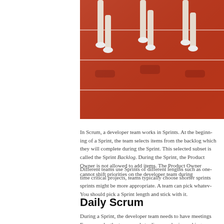[Figure (photo): Athletes running on a red track, legs and feet visible, white lane markings visible on the track surface]
In Scrum, a developer team works in Sprints. At the beginning of a Sprint, the team selects items from the backlog which they will complete during the Sprint. This selected subset is called the Sprint Backlog. During the Sprint, the Product Owner is not allowed to add more items. The Product Owner cannot shift priorities on the developer team during a Sprint.
Different teams use Sprints of different lengths such as one, two, three, or four weeks. For time critical projects, teams typically choose shorter sprints. For longer term projects, longer sprints might be more appropriate. A team can pick whatever length they want for their Sprint. You should pick a Sprint length and stick with it.
Daily Scrum
During a Sprint, the developer team needs to have meetings every day called Daily Scrums. For example, the team needs to discuss who is working on what.